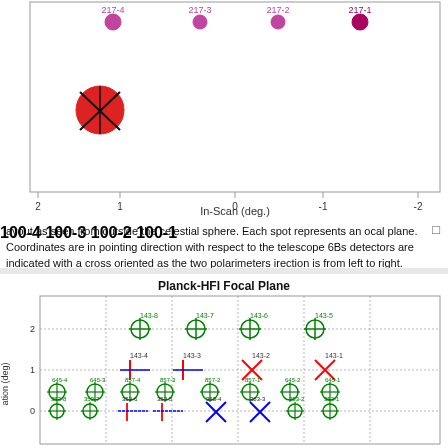[Figure (engineering-diagram): Planck focal plane detector layout showing 100 GHz and 217 GHz detectors. Top partial chart showing detectors labeled 217-4, 217-3, 217-2, 217-1 (purple/magenta dots) and 100-4, 100-3, 100-2, 100-1 (red circles with cross markers). X-axis labeled In-Scan (deg.) ranging from 2 to -2.]
ayout as seen from outside the celestial sphere. Each spot represents an ocal plane. Coordinates are in pointing direction with respect to the telescope 6Bs detectors are indicated with a cross oriented as the two polarimeters irection is from left to right.
[Figure (engineering-diagram): Planck-HFI Focal Plane diagram showing detector layout. Green circles for 143, 545, 857, 353 GHz detectors; red and blue crosses for 143 GHz polarimetric detectors. Y-axis labeled ation (deg), shows values 0, 1, 2. Multiple detector labels shown: 143-8, 143-7, 143-6, 143-5, 143-4, 143-3, 143-2, 143-1, 645-4, 645-3, 857-4, 857-3, 857-2, 857-1, 645-2, 645-1, 353-8, 353-7, 353-6, 353-5, 353-4, 353-3, 353-2, 353-1.]